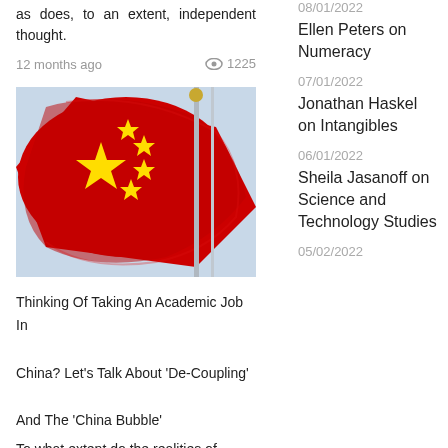as does, to an extent, independent thought.
12 months ago  👁 1225
[Figure (photo): Chinese flag waving in the wind against a light blue sky with a flagpole visible in the background]
Thinking Of Taking An Academic Job In China? Let's Talk About 'De-Coupling' And The 'China Bubble'
To what extent do the realities of
08/01/2022
Ellen Peters on Numeracy
07/01/2022
Jonathan Haskel on Intangibles
06/01/2022
Sheila Jasanoff on Science and Technology Studies
05/02/2022